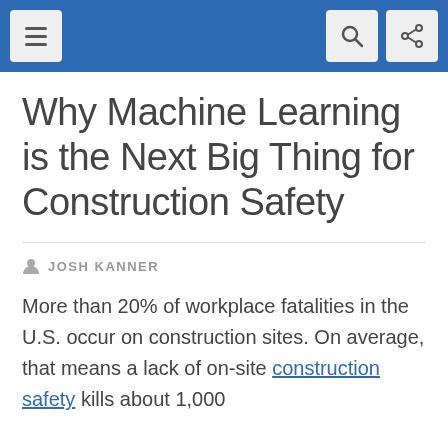Navigation bar with menu, search, and share icons
Why Machine Learning is the Next Big Thing for Construction Safety
JOSH KANNER
More than 20% of workplace fatalities in the U.S. occur on construction sites. On average, that means a lack of on-site construction safety kills about 1,000